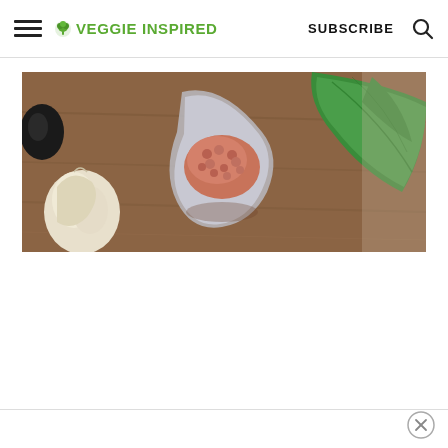≡ 🥦 VEGGIE INSPIRED   SUBSCRIBE 🔍
[Figure (photo): Close-up photo of ingredients on a wooden surface: a spoonful of red lentils or spiced mixture, garlic clove, and green kale/collard leaf.]